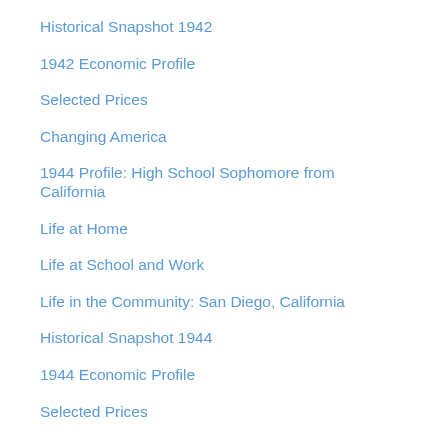Historical Snapshot 1942
1942 Economic Profile
Selected Prices
Changing America
1944 Profile: High School Sophomore from California
Life at Home
Life at School and Work
Life in the Community: San Diego, California
Historical Snapshot 1944
1944 Economic Profile
Selected Prices